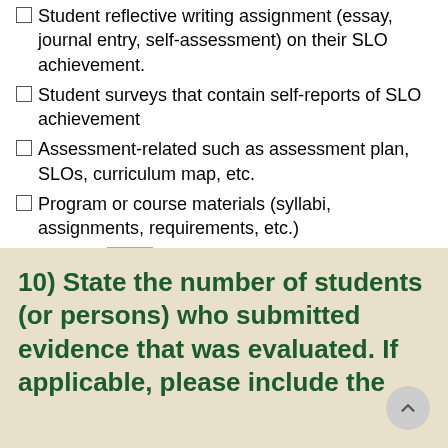Student reflective writing assignment (essay, journal entry, self-assessment) on their SLO achievement.
Student surveys that contain self-reports of SLO achievement
Assessment-related such as assessment plan, SLOs, curriculum map, etc.
Program or course materials (syllabi, assignments, requirements, etc.)
Other 1:
Other 2:
10) State the number of students (or persons) who submitted evidence that was evaluated. If applicable, please include the